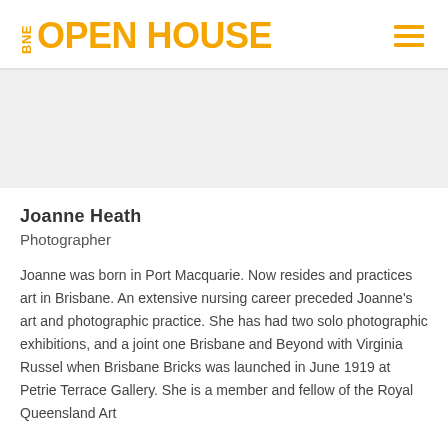BNE OPEN HOUSE
[Figure (photo): Gray placeholder image area below the header divider]
Joanne Heath
Photographer
Joanne was born in Port Macquarie. Now resides and practices art in Brisbane. An extensive nursing career preceded Joanne's art and photographic practice. She has had two solo photographic exhibitions, and a joint one Brisbane and Beyond with Virginia Russel when Brisbane Bricks was launched in June 1919 at Petrie Terrace Gallery. She is a member and fellow of the Royal Queensland Art